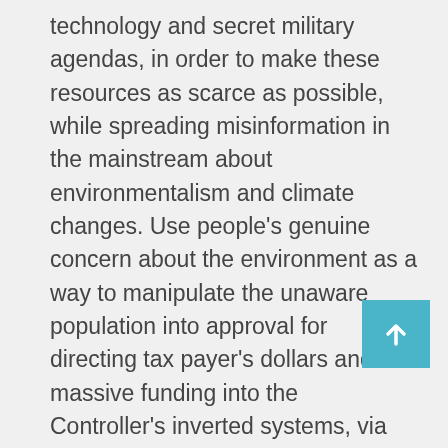technology and secret military agendas, in order to make these resources as scarce as possible, while spreading misinformation in the mainstream about environmentalism and climate changes. Use people's genuine concern about the environment as a way to manipulate the unaware population into approval for directing tax payer's dollars and massive funding into the Controller's inverted systems, via their organized institutions to launder money into approved projects like chemtrailing and gang stalking. These schemes are designed to profit a t in order to protect the major industrial conglomerates, while actually enforcing and promoting policies that destroy the